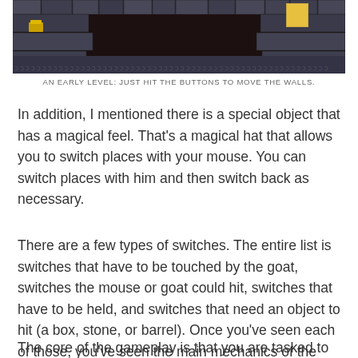[Figure (screenshot): A pixel-art dungeon/castle level screenshot showing stone brick walls and floor, with a yellow glowing object on the left and a lit doorway on the upper right. The scene is dark with blue-grey stone textures.]
AN EARLY LEVEL: JUST HIT THE BUTTONS TO MOVE THE WALLS.
In addition, I mentioned there is a special object that has a magical feel. That's a magical hat that allows you to switch places with your mouse. You can switch places with him and then switch back as necessary.
There are a few types of switches. The entire list is switches that have to be touched by the goat, switches the mouse or goat could hit, switches that have to be held, and switches that need an object to hit (a box, stone, or barrel). Once you've seen each of those, you've seen the main mechanics of the game.
The core of the gameplay is that you are tasked to